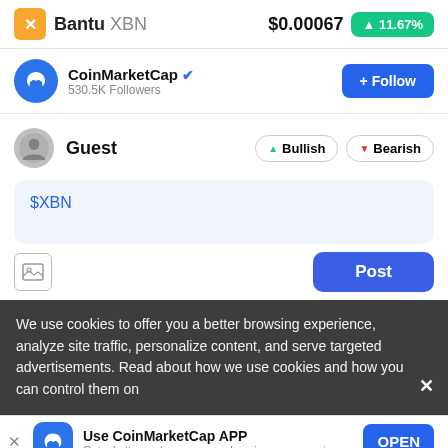Bantu XBN  $0.00067  ▲11.67%
CoinMarketCap ✓  530.5K Followers
Guest  Bullish  Bearish
$XBN
[Figure (screenshot): Image upload icon button]
Post
We use cookies to offer you a better browsing experience, analyze site traffic, personalize content, and serve targeted advertisements. Read about how we use cookies and how you can control them on
Use CoinMarketCap APP  Get a better and more comprehensive user experience  OPEN